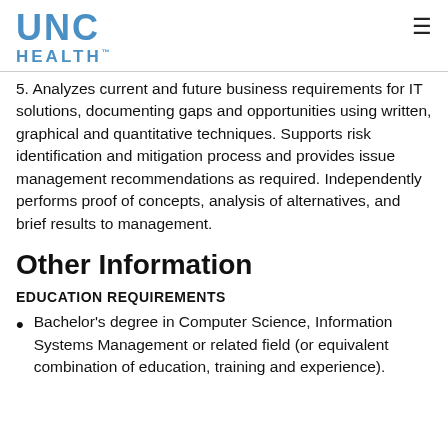UNC HEALTH™
5. Analyzes current and future business requirements for IT solutions, documenting gaps and opportunities using written, graphical and quantitative techniques. Supports risk identification and mitigation process and provides issue management recommendations as required. Independently performs proof of concepts, analysis of alternatives, and brief results to management.
Other Information
EDUCATION REQUIREMENTS
Bachelor's degree in Computer Science, Information Systems Management or related field (or equivalent combination of education, training and experience).